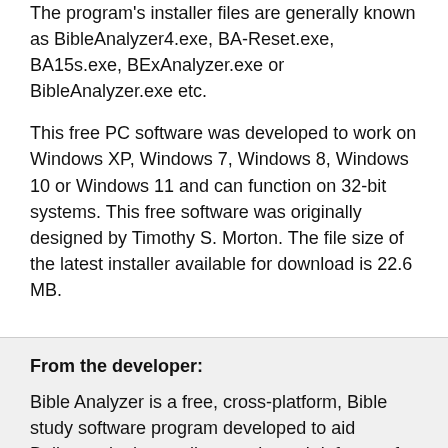The program's installer files are generally known as BibleAnalyzer4.exe, BA-Reset.exe, BA15s.exe, BExAnalyzer.exe or BibleAnalyzer.exe etc.
This free PC software was developed to work on Windows XP, Windows 7, Windows 8, Windows 10 or Windows 11 and can function on 32-bit systems. This free software was originally designed by Timothy S. Morton. The file size of the latest installer available for download is 22.6 MB.
From the developer:
Bible Analyzer is a free, cross-platform, Bible study software program developed to aid Believers in the reading, study, and defense of the Holy Scriptures. The program allows you to easily search for a word, words, or phrase with a handy suggestion box, plus several advanced searching capabilities. Also, you can